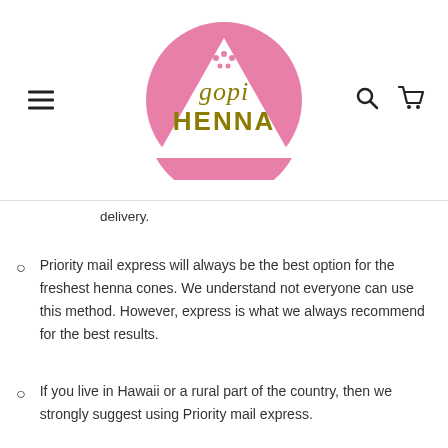[Figure (logo): Gopi Henna logo: pink circle with white triangle inside containing dots and the text 'gopi' in gold italic and 'HENNA' in bold gold uppercase]
delivery.
Priority mail express will always be the best option for the freshest henna cones. We understand not everyone can use this method. However, express is what we always recommend for the best results.
If you live in Hawaii or a rural part of the country, then we strongly suggest using Priority mail express.